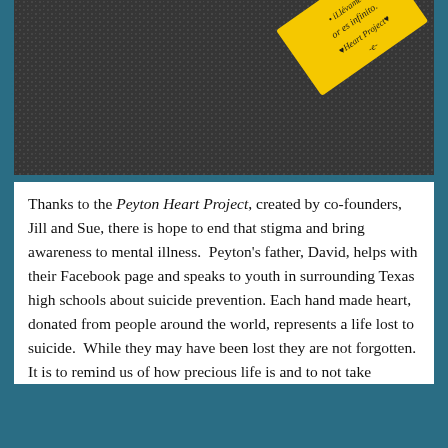[Figure (photo): Close-up photo of a dark textured knitted or woven fabric background with a yellow tag/label on top. The yellow tag has handwritten or printed text that reads 'or es infinito', 'Heart Project', and 'iLlévame!' The tag is angled diagonally.]
Thanks to the Peyton Heart Project, created by co-founders, Jill and Sue, there is hope to end that stigma and bring awareness to mental illness.  Peyton's father, David, helps with their Facebook page and speaks to youth in surrounding Texas high schools about suicide prevention. Each hand made heart, donated from people around the world, represents a life lost to suicide.  While they may have been lost they are not forgotten.  It is to remind us of how precious life is and to not take